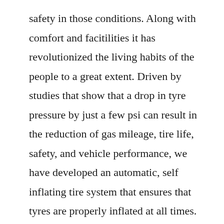safety in those conditions. Along with comfort and facitilities it has revolutionized the living habits of the people to a great extent. Driven by studies that show that a drop in tyre pressure by just a few psi can result in the reduction of gas mileage, tire life, safety, and vehicle performance, we have developed an automatic, self inflating tire system that ensures that tyres are properly inflated at all times. Self inflating systems are designed to constantly maintain tire pressure at the proper level. Self inflating tyre systems mechanical engineering. While there have been self